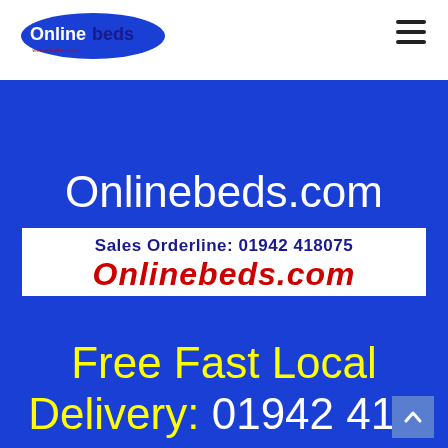[Figure (logo): Onlinebeds logo — oval shape with 'Online' in white on dark blue and 'beds' in dark blue on white, with website URL beneath]
[Figure (other): Hamburger menu icon — three horizontal black lines]
Onlinebeds.com
Sales Orderline: 01942 418075
Onlinebeds.com
Free Fast Local Delivery: 01942 418 075